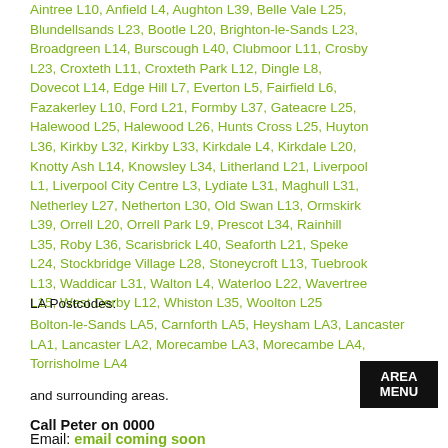Aintree L10, Anfield L4, Aughton L39, Belle Vale L25, Blundellsands L23, Bootle L20, Brighton-le-Sands L23, Broadgreen L14, Burscough L40, Clubmoor L11, Crosby L23, Croxteth L11, Croxteth Park L12, Dingle L8, Dovecot L14, Edge Hill L7, Everton L5, Fairfield L6, Fazakerley L10, Ford L21, Formby L37, Gateacre L25, Halewood L25, Halewood L26, Hunts Cross L25, Huyton L36, Kirkby L32, Kirkby L33, Kirkdale L4, Kirkdale L20, Knotty Ash L14, Knowsley L34, Litherland L21, Liverpool L1, Liverpool City Centre L3, Lydiate L31, Maghull L31, Netherley L27, Netherton L30, Old Swan L13, Ormskirk L39, Orrell L20, Orrell Park L9, Prescot L34, Rainhill L35, Roby L36, Scarisbrick L40, Seaforth L21, Speke L24, Stockbridge Village L28, Stoneycroft L13, Tuebrook L13, Waddicar L31, Walton L4, Waterloo L22, Wavertree L15, West Derby L12, Whiston L35, Woolton L25
LA Postcodes:
Bolton-le-Sands LA5, Carnforth LA5, Heysham LA3, Lancaster LA1, Lancaster LA2, Morecambe LA3, Morecambe LA4, Torrisholme LA4
and surrounding areas.
Call Peter on 0000
Email: email coming soon